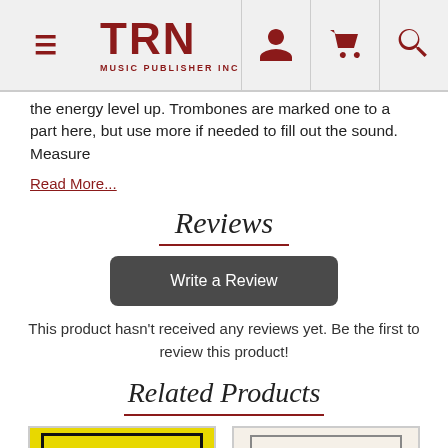TRN MUSIC PUBLISHER INC
the energy level up. Trombones are marked one to a part here, but use more if needed to fill out the sound. Measure
Read More...
Reviews
Write a Review
This product hasn't received any reviews yet. Be the first to review this product!
Related Products
[Figure (other): Two product thumbnail images side by side - one with yellow background and black border, one with cream background and decorative border frame]